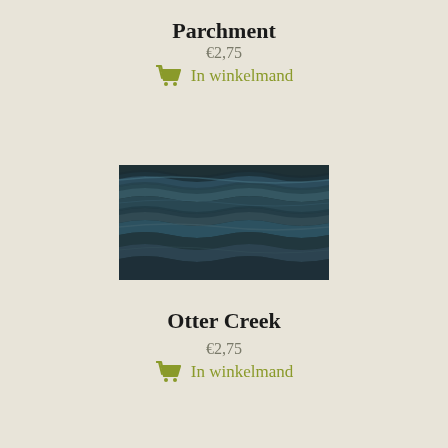Parchment
€2,75
In winkelmand
[Figure (photo): Skein of yarn in dark teal and grey-blue tones, showing textured twisted fibers]
Otter Creek
€2,75
In winkelmand